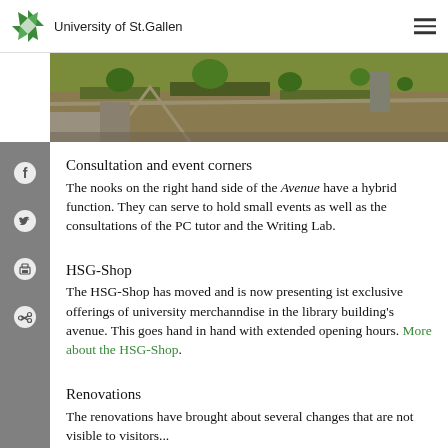University of St.Gallen
[Figure (photo): Aerial/rooftop view of garden landscaping with trees and pathways at University of St.Gallen]
Consultation and event corners
The nooks on the right hand side of the Avenue have a hybrid function. They can serve to hold small events as well as the consultations of the PC tutor and the Writing Lab.
HSG-Shop
The HSG-Shop has moved and is now presenting ist exclusive offerings of university merchanndise in the library building's avenue. This goes hand in hand with extended opening hours. More about the HSG-Shop.
Renovations
The renovations have brought about several changes that are not visible to visitors...